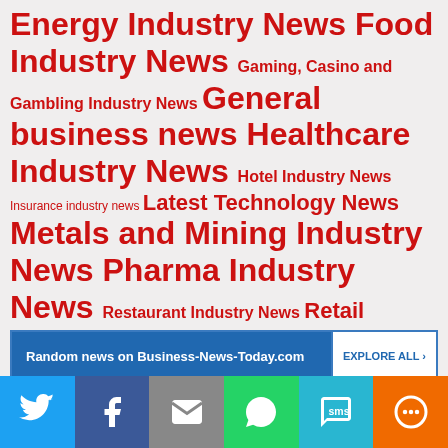Energy Industry News Food Industry News Gaming, Casino and Gambling Industry News General business news Healthcare Industry News Hotel Industry News Insurance industry news Latest Technology News Metals and Mining Industry News Pharma Industry News Restaurant Industry News Retail Industry News Technology Industry News World News Headlines
Random news on Business-News-Today.com   EXPLORE ALL ›
[Figure (infographic): Social sharing bar with Twitter, Facebook, Email, WhatsApp, SMS, and More icons]